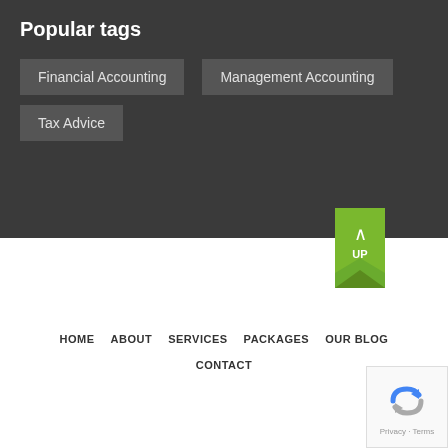Popular tags
Financial Accounting
Management Accounting
Tax Advice
[Figure (other): Green ribbon UP button for scroll to top]
[Figure (logo): Anovate Group of Companies logo]
© 2015-2022 All Rights Reserved Anovate - Designed by Flaming Cherry Design
HOME   ABOUT   SERVICES   PACKAGES   OUR BLOG   CONTACT
[Figure (other): reCAPTCHA privacy badge with Privacy and Terms text]